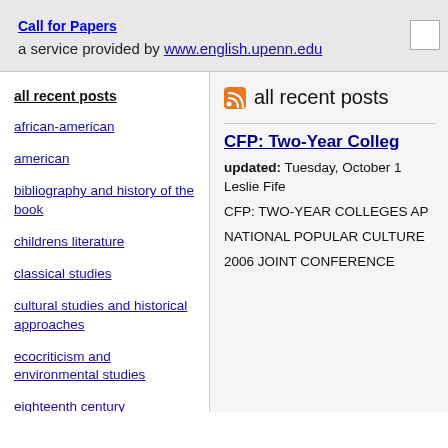Call for Papers
a service provided by www.english.upenn.edu
all recent posts
african-american
american
bibliography and history of the book
childrens literature
classical studies
cultural studies and historical approaches
ecocriticism and environmental studies
eighteenth century
all recent posts
CFP: Two-Year Colleg...
updated: Tuesday, October 1...
Leslie Fife
CFP: TWO-YEAR COLLEGES AP...
NATIONAL POPULAR CULTURE...
2006 JOINT CONFERENCE